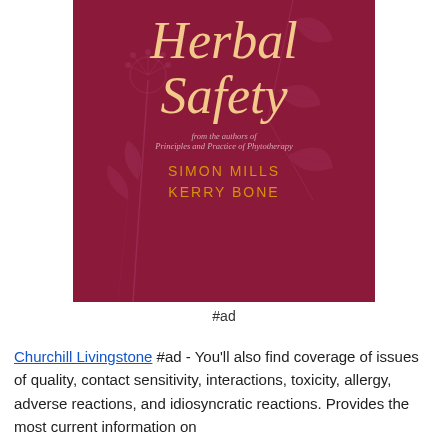[Figure (illustration): Book cover of 'Herbal Safety' by Simon Mills and Kerry Bone. Dark crimson/maroon background with botanical line illustrations of plants. Title in large italic gold/cream serif font. Subtitle 'from the authors of Principles and Practice of Phytotherapy' in italic smaller text. Authors SIMON MILLS and KERRY BONE in gold spaced sans-serif capitals.]
#ad
Churchill Livingstone #ad - You'll also find coverage of issues of quality, contact sensitivity, interactions, toxicity, allergy, adverse reactions, and idiosyncratic reactions. Provides the most current information on